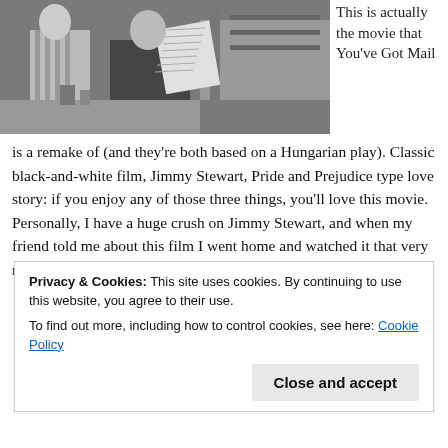[Figure (photo): Black and white photograph of two people, one holding a newspaper, in what appears to be a shop interior]
This is actually the movie that You've Got Mail is a remake of (and they're both based on a Hungarian play). Classic black-and-white film, Jimmy Stewart, Pride and Prejudice type love story: if you enjoy any of those three things, you'll love this movie. Personally, I have a huge crush on Jimmy Stewart, and when my friend told me about this film I went home and watched it that very night. If you've seen either this film or You've Got Mail, it's fun to
Privacy & Cookies: This site uses cookies. By continuing to use this website, you agree to their use.
To find out more, including how to control cookies, see here: Cookie Policy